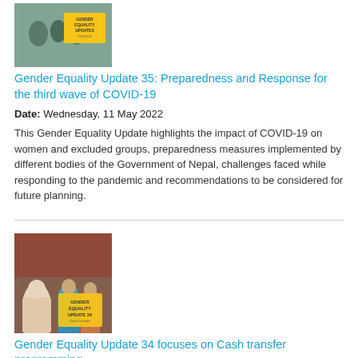[Figure (photo): Thumbnail photo for Gender Equality Update 35 with yellow overlay text]
Gender Equality Update 35: Preparedness and Response for the third wave of COVID-19
Date: Wednesday, 11 May 2022
This Gender Equality Update highlights the impact of COVID-19 on women and excluded groups, preparedness measures implemented by different bodies of the Government of Nepal, challenges faced while responding to the pandemic and recommendations to be considered for future planning.
[Figure (photo): Thumbnail photo for Gender Equality Update 34 showing people at an event with yellow overlay text]
Gender Equality Update 34 focuses on Cash transfer programming
Date: Friday, 8 April 2022